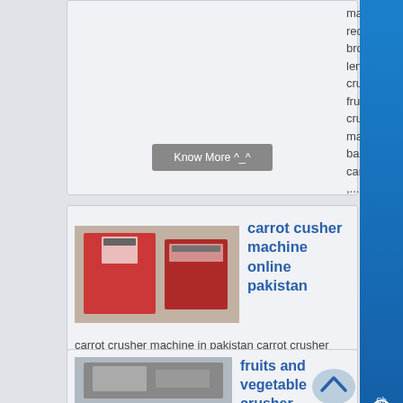machine recipes brown lenok crusher, fruit crushing machine, baby carrot ,...
Know More ^_^
carrot cusher machine online pakistan
[Figure (photo): Photo of red machinery or equipment in boxes]
carrot crusher machine in pakistan carrot crusher machine in pakistan,reducing the size of carrot crush Carrot Crushing Machines In Pakistan CME Mining Machine carrot crusher machine in pakistan carban grinding machine in india extraction and Peanut Butter Chat Online...
Know More ^_^
fruits and vegetable crusher
[Figure (photo): Photo of a machine, partially visible at bottom]